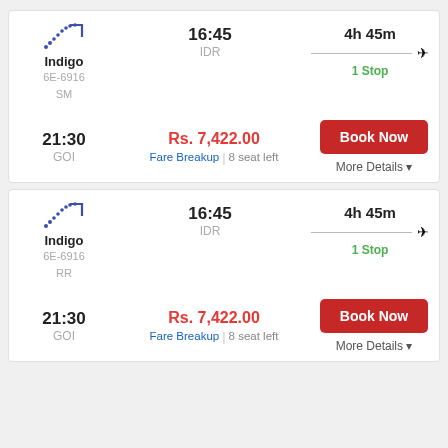Indigo 6E-6916 SM | 16:45 IDR | 4h 45m 1 Stop | 21:30 GOI | Rs. 7,422.00 | Fare Breakup | 8 seat left | Book Now | More Details
Indigo 6E-6916 RR | 16:45 IDR | 4h 45m 1 Stop | 21:30 GOI | Rs. 7,422.00 | Fare Breakup | 8 seat left | Book Now | More Details